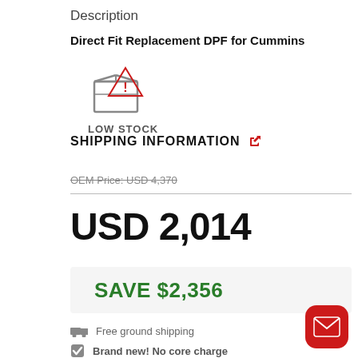Description
Direct Fit Replacement DPF for Cummins
[Figure (infographic): Low stock icon: box with a red warning triangle overlay, with text LOW STOCK below in bold gray uppercase letters]
SHIPPING INFORMATION
OEM Price: USD 4,370 (strikethrough)
USD 2,014
SAVE $2,356
Free ground shipping
Brand new! No core charge